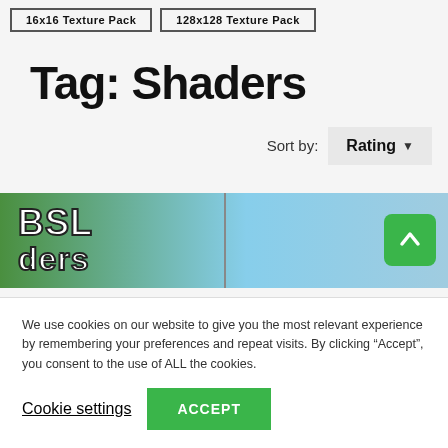16x16 Texture Pack   128x128 Texture Pack
Tag: Shaders
Sort by: Rating
[Figure (screenshot): BSL Shaders banner image showing 'BSL' and 'ders' text in bold white with black outline on a green/sky background, with a vertical divider and a green up-arrow button on the right]
We use cookies on our website to give you the most relevant experience by remembering your preferences and repeat visits. By clicking “Accept”, you consent to the use of ALL the cookies.
Cookie settings
ACCEPT